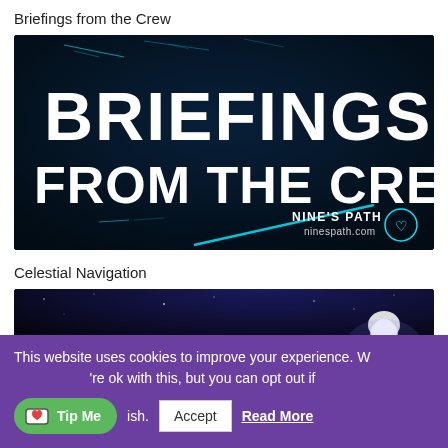Briefings from the Crew
[Figure (illustration): Dark sci-fi themed banner image with large white futuristic text reading BRIEFINGS FROM THE CREW on a dark navy/black background with cyan light streaks and Nine's Path ninespath.com watermark]
Celestial Navigation
[Figure (photo): Partially visible photo showing a glowing bright figure or person with blonde/white hair against a starry night sky background, cropped at bottom]
This website uses cookies to improve your experience. We'll assume you're ok with this, but you can opt out if you wish.
Accept
Read More